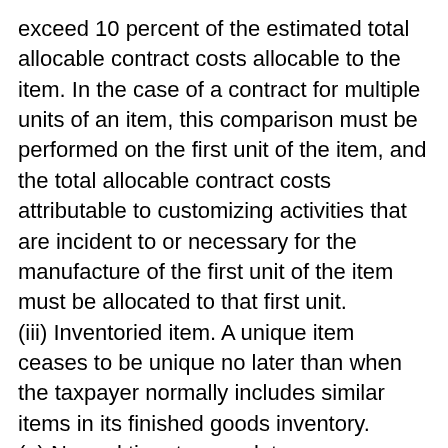exceed 10 percent of the estimated total allocable contract costs allocable to the item. In the case of a contract for multiple units of an item, this comparison must be performed on the first unit of the item, and the total allocable contract costs attributable to customizing activities that are incident to or necessary for the manufacture of the first unit of the item must be allocated to that first unit.
(iii) Inventoried item. A unique item ceases to be unique no later than when the taxpayer normally includes similar items in its finished goods inventory.
(e) Normal time to complete